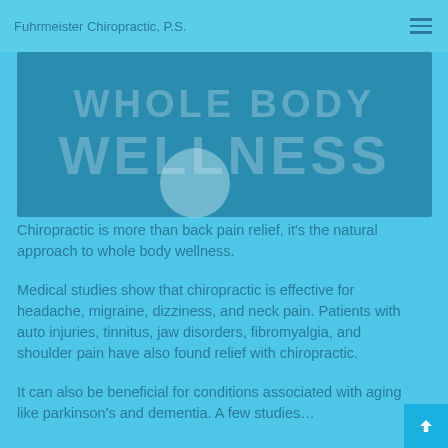Fuhrmeister Chiropractic, P.S.
[Figure (illustration): Hero banner with large bold text 'WHOLE BODY WELLNESS' in slightly transparent white on teal/blue background]
Chiropractic is more than back pain relief, it’s the natural approach to whole body wellness.
Medical studies show that chiropractic is effective for headache, migraine, dizziness, and neck pain. Patients with auto injuries, tinnitus, jaw disorders, fibromyalgia, and shoulder pain have also found relief with chiropractic.
It can also be beneficial for conditions associated with aging like parkinson’s and dementia. A few studies…